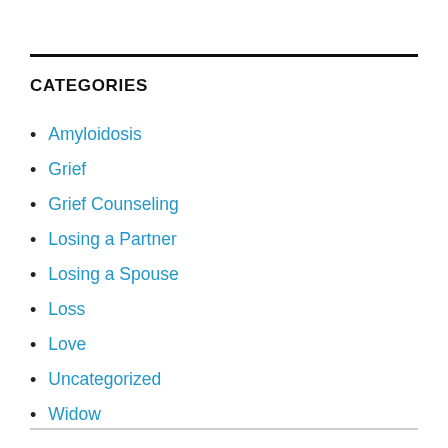CATEGORIES
Amyloidosis
Grief
Grief Counseling
Losing a Partner
Losing a Spouse
Loss
Love
Uncategorized
Widow